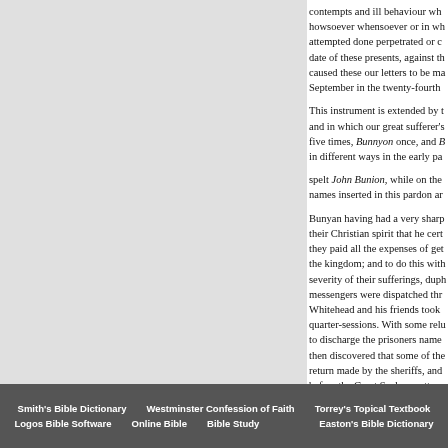contempts and ill behaviour wh howsoever whensoever or in wh attempted done perpetrated or c date of these presents, against th caused these our letters to be ma September in the twenty-fourth
This instrument is extended by t and in which our great sufferer's five times, Bunnyon once, and B in different ways in the early pa
spelt John Bunion, while on the names inserted in this pardon ar
Bunyan having had a very sharp their Christian spirit that he cert they paid all the expenses of get the kingdom; and to do this with severity of their sufferings, duph messengers were dispatched thr Whitehead and his friends took quarter-sessions. With some relu to discharge the prisoners name then discovered that some of the return made by the sheriffs, and before the Great Seal was attac were discharged from confinem
Smith's Bible Dictionary | Westminster Confession of Faith | Torrey's Topical Textbook | Logos Bible Software | Online Bible | Bible Study | Easton's Bible Dictionary